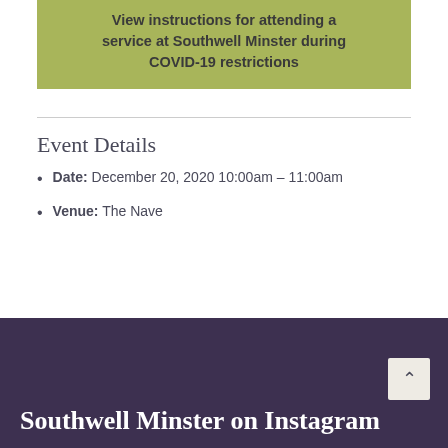View instructions for attending a service at Southwell Minster during COVID-19 restrictions
Event Details
Date: December 20, 2020 10:00am – 11:00am
Venue: The Nave
Southwell Minster on Instagram